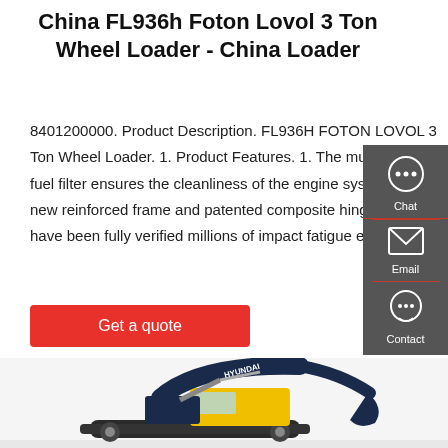China FL936h Foton Lovol 3 Ton Wheel Loader - China Loader
8401200000. Product Description. FL936H FOTON LOVOL 3 Ton Wheel Loader. 1. Product Features. 1. The multi-stage fuel filter ensures the cleanliness of the engine system. 2. The new reinforced frame and patented composite hinge structure have been fully verified millions of impact fatigue experiment.
Get a quote
[Figure (illustration): Contact panel with Chat, Email, and Contact icons on dark grey background]
[Figure (photo): Hyundai excavator/construction machine photograph, dark blue arm with yellow cab body]